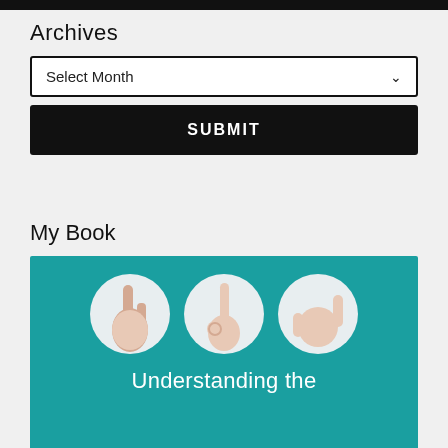Archives
Select Month
SUBMIT
My Book
[Figure (illustration): Book cover with teal background showing three circular images of hands making sign language gestures (ASL letters), with white text reading 'Understanding the']